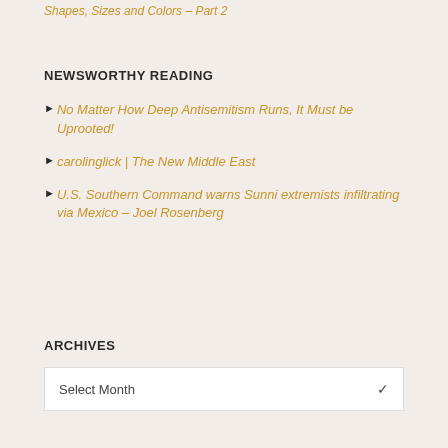Shapes, Sizes and Colors – Part 2
NEWSWORTHY READING
No Matter How Deep Antisemitism Runs, It Must be Uprooted!
carolinglick | The New Middle East
U.S. Southern Command warns Sunni extremists infiltrating via Mexico – Joel Rosenberg
ARCHIVES
Select Month